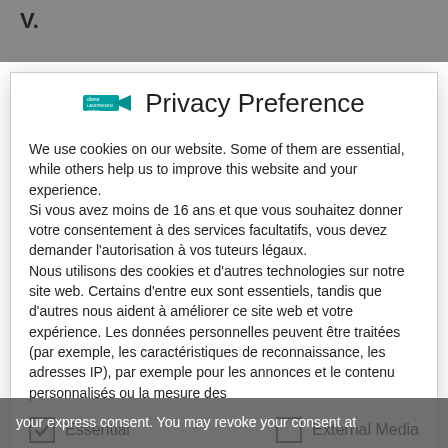V.
Privacy Preference
We use cookies on our website. Some of them are essential, while others help us to improve this website and your experience.
Si vous avez moins de 16 ans et que vous souhaitez donner votre consentement à des services facultatifs, vous devez demander l'autorisation à vos tuteurs légaux.
Nous utilisons des cookies et d'autres technologies sur notre site web. Certains d'entre eux sont essentiels, tandis que d'autres nous aident à améliorer ce site web et votre expérience. Les données personnelles peuvent être traitées (par exemple, les caractéristiques de reconnaissance, les adresses IP), par exemple pour les annonces et le contenu personnalisés ou la mesure des
Essential
External Media
Accept all
your express consent. You may revoke your consent at